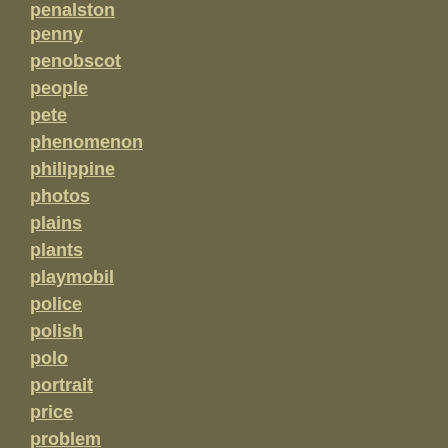penalston
penny
penobscot
people
pete
phenomenon
philippine
photos
plains
plants
playmobil
police
polish
polo
portrait
price
problem